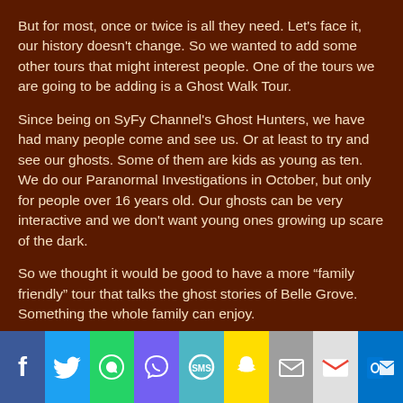But for most, once or twice is all they need. Let's face it, our history doesn't change. So we wanted to add some other tours that might interest people. One of the tours we are going to be adding is a Ghost Walk Tour.
Since being on SyFy Channel's Ghost Hunters, we have had many people come and see us. Or at least to try and see our ghosts. Some of them are kids as young as ten. We do our Paranormal Investigations in October, but only for people over 16 years old. Our ghosts can be very interactive and we don't want young ones growing up scare of the dark.
So we thought it would be good to have a more “family friendly” tour that talks the ghost stories of Belle Grove. Something the whole family can enjoy.
So my main focus Tuesday was to do the “Tavern Ghost Walk Tour” in Williamsburg. I have never really been on a Ghost Tour so I wanted to see how they conducted the walk and what the reaction was of the people on the walk.
[Figure (infographic): Social media share bar with icons: Facebook, Twitter, WhatsApp, Viber, SMS, Snapchat, Email, Gmail, Outlook]